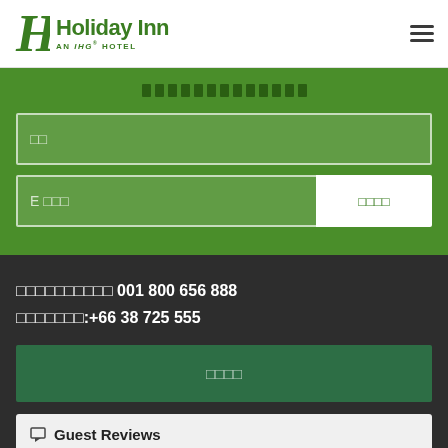[Figure (logo): Holiday Inn AN IHG HOTEL logo in green with stylized H icon]
ย่อหน้าสมัครรับข่าวสาร (newsletter signup form section in Thai)
ชื่อ (Name field placeholder in Thai)
E เมล (Email field placeholder in Thai)
สมัคร (Subscribe button in Thai)
โทรฟรีจากทั่วโลก 001 800 656 888
ติดต่อโดยตรง:+66 38 725 555
จองห้องพัก (Book Room button in Thai)
Guest Reviews